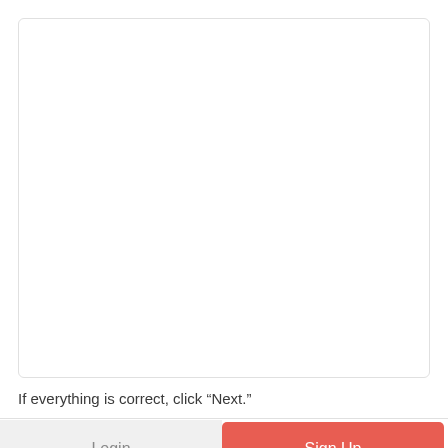[Figure (other): Large white preview/content box with light gray border]
If everything is correct, click “Next.”
Login
Sign Up